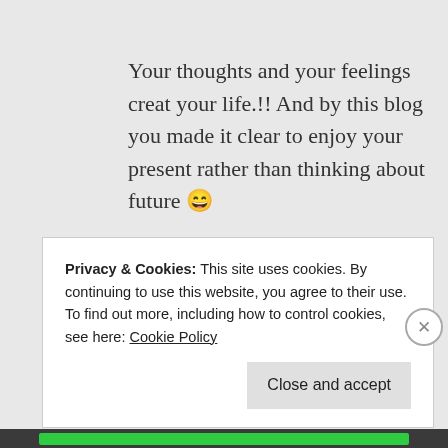Your thoughts and your feelings creat your life.!! And by this blog you made it clear to enjoy your present rather than thinking about future 😄
★ Liked by 2 people
↪ Reply
Privacy & Cookies: This site uses cookies. By continuing to use this website, you agree to their use.
To find out more, including how to control cookies, see here: Cookie Policy
Close and accept